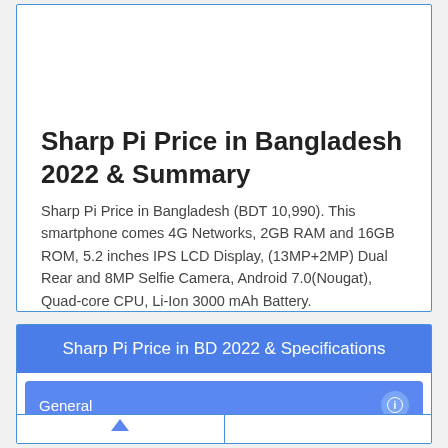Sharp Pi Price in Bangladesh 2022 & Summary
Sharp Pi Price in Bangladesh (BDT 10,990). This smartphone comes 4G Networks, 2GB RAM and 16GB ROM, 5.2 inches IPS LCD Display, (13MP+2MP) Dual Rear and 8MP Selfie Camera, Android 7.0(Nougat), Quad-core CPU, Li-Ion 3000 mAh Battery.
Sharp Pi Price in BD 2022 & Specifications
| General |  |
| --- | --- |